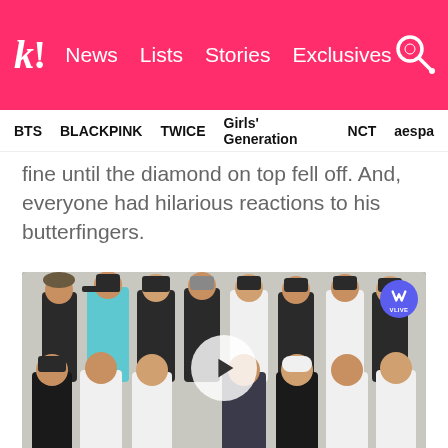k! News Lists Stories Exclusives
BTS BLACKPINK TWICE Girls' Generation NCT aespa
fine until the diamond on top fell off. And, everyone had hilarious reactions to his butterfingers.
[Figure (photo): Group of young men seated and standing in a room, V Live video thumbnail with play button overlay]
Vernon and Jeonghan stared blankly; Woozi...